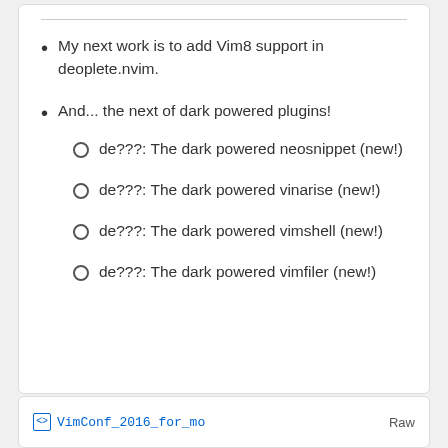My next work is to add Vim8 support in deoplete.nvim.
And... the next of dark powered plugins!
de???: The dark powered neosnippet (new!)
de???: The dark powered vinarise (new!)
de???: The dark powered vimshell (new!)
de???: The dark powered vimfiler (new!)
VimConf_2016_for_mo   Raw